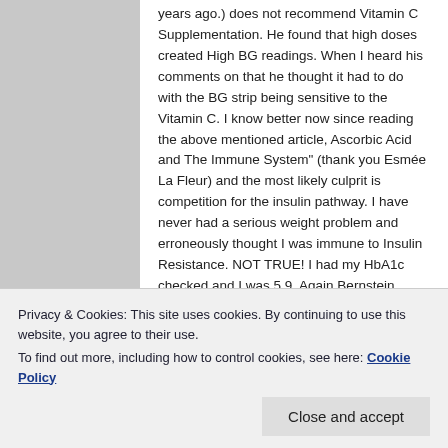years ago.) does not recommend Vitamin C Supplementation. He found that high doses created High BG readings. When I heard his comments on that he thought it had to do with the BG strip being sensitive to the Vitamin C. I know better now since reading the above mentioned article, Ascorbic Acid and The Immune System" (thank you Esmée La Fleur) and the most likely culprit is competition for the insulin pathway. I have never had a serious weight problem and erroneously thought I was immune to Insulin Resistance. NOT TRUE! I had my HbA1c checked and I was 5.9. Again Bernstein recommends under 5 and 4.6 ideal. I have been LC since seeing my
Privacy & Cookies: This site uses cookies. By continuing to use this website, you agree to their use.
To find out more, including how to control cookies, see here: Cookie Policy
am considering 0 Carb to try to remove the last